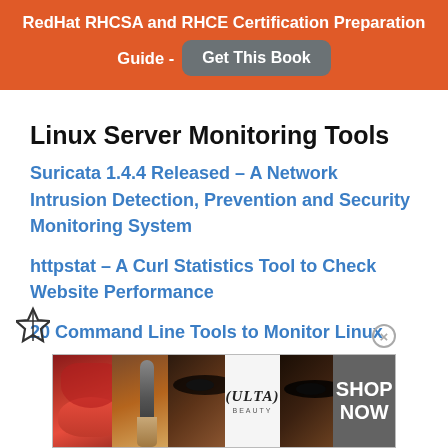RedHat RHCSA and RHCE Certification Preparation Guide - Get This Book
Linux Server Monitoring Tools
Suricata 1.4.4 Released – A Network Intrusion Detection, Prevention and Security Monitoring System
httpstat – A Curl Statistics Tool to Check Website Performance
20 Command Line Tools to Monitor Linux
[Figure (photo): ULTA Beauty advertisement banner with cosmetic imagery and 'SHOP NOW' call to action]